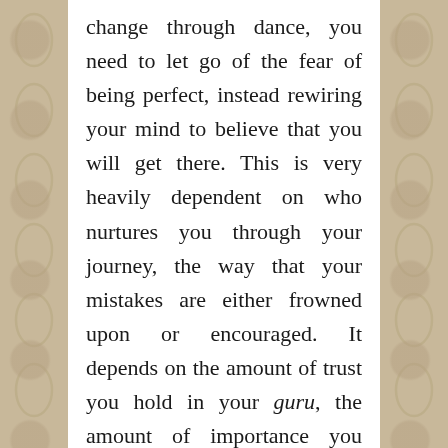change through dance, you need to let go of the fear of being perfect, instead rewiring your mind to believe that you will get there. This is very heavily dependent on who nurtures you through your journey, the way that your mistakes are either frowned upon or encouraged. It depends on the amount of trust you hold in your guru, the amount of importance you place upon their instruction. The assimilation of true understanding of your being, comes from the